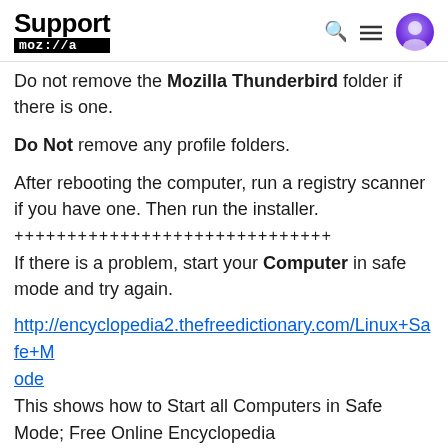Support mozilla:// [search icon] [menu icon] [user icon]
Do not remove the Mozilla Thunderbird folder if there is one.
Do Not remove any profile folders.
After rebooting the computer, run a registry scanner if you have one. Then run the installer.
++++++++++++++++++++++++++++
If there is a problem, start your Computer in safe mode and try again.
http://encyclopedia2.thefreedictionary.com/Linux+Safe+Mode
This shows how to Start all Computers in Safe Mode; Free Online Encyclopedia